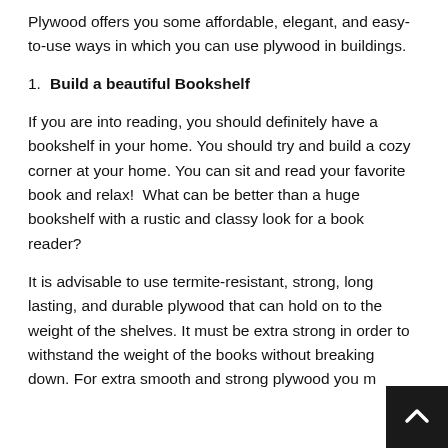Plywood offers you some affordable, elegant, and easy-to-use ways in which you can use plywood in buildings.
1. Build a beautiful Bookshelf
If you are into reading, you should definitely have a bookshelf in your home. You should try and build a cozy corner at your home. You can sit and read your favorite book and relax!  What can be better than a huge bookshelf with a rustic and classy look for a book reader?
It is advisable to use termite-resistant, strong, long lasting, and durable plywood that can hold on to the weight of the shelves. It must be extra strong in order to withstand the weight of the books without breaking down. For extra smooth and strong plywood you m